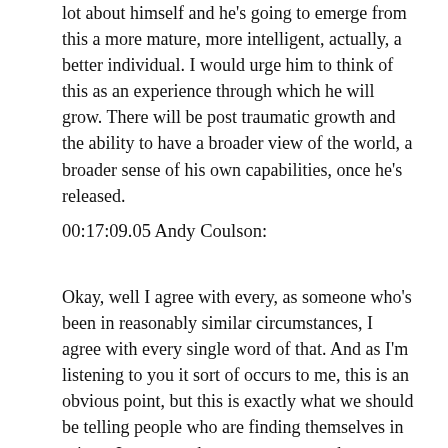lot about himself and he's going to emerge from this a more mature, more intelligent, actually, a better individual. I would urge him to think of this as an experience through which he will grow. There will be post traumatic growth and the ability to have a broader view of the world, a broader sense of his own capabilities, once he's released.
00:17:09.05 Andy Coulson:
Okay, well I agree with every, as someone who's been in reasonably similar circumstances, I agree with every single word of that. And as I'm listening to you it sort of occurs to me, this is an obvious point, but this is exactly what we should be telling people who are finding themselves in prison. I mean, perhaps not everyone, because that is a harder conversation with some inmates than it is with others, but that's exactly what we should be saying to people who find themselves behind a cell door.